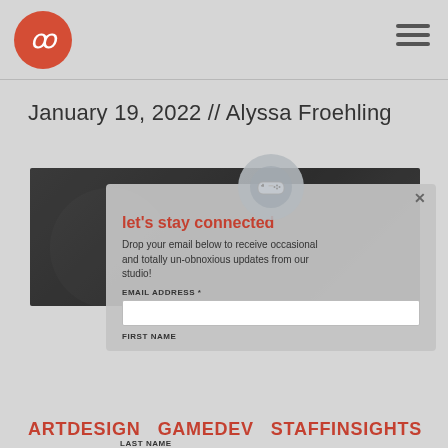[Figure (logo): Red circular logo with stylized script icon (resembling a 'w' or cursive letter) in white, top-left header]
[Figure (other): Hamburger menu icon (three horizontal lines) in top-right header]
January 19, 2022 // Alyssa Froehling
[Figure (photo): Dark textured/atmospheric background image, partial view]
[Figure (other): Modal popup: game controller icon at top, title 'let's stay connected', body text, email address input field, first name label, last name label, close button X]
ARTDESIGN   GAMEDEV   STAFFINSIGHTS